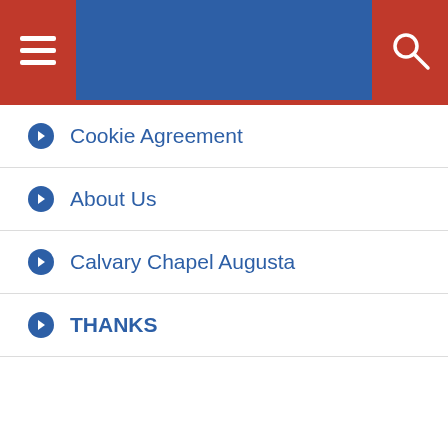Navigation menu header with hamburger and search buttons
Cookie Agreement
About Us
Calvary Chapel Augusta
THANKS
JESUS  AUTHOR  PRIVACY POLICY  COOKIE AGREEMENT  ABOUT US  CALVARY CHAPEL AUGUSTA  THANKS
[Figure (screenshot): Advertisement for Yolo Froyo by sweetFrog with logo and navigation arrow icon]